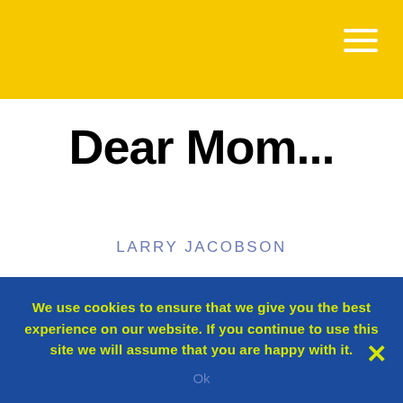Dear Mom...
LARRY JACOBSON
Dear Mom,
I dreamed about you last night. You were dressed
We use cookies to ensure that we give you the best experience on our website. If you continue to use this site we will assume that you are happy with it.
Ok